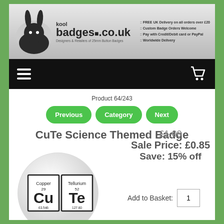kool badges .co.uk — Designers & Retailers of 25mm Button Badges :: FREE UK Delivery on all orders over £20 :: Custom Badge Orders Welcome :: Pay with Credit/Debit card or PayPal :: Worldwide Delivery
Product 64/243
Previous | Category | Next
CuTe Science Themed Badge
£1.00 Sale Price: £0.85 Save: 15% off
[Figure (photo): A circular badge showing periodic table element tiles for Copper (Cu, 29) and Tellurium (Te, 52) spelling CuTe]
Add to Basket: 1